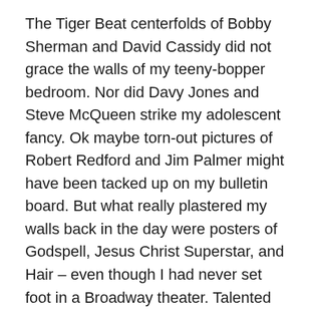The Tiger Beat centerfolds of Bobby Sherman and David Cassidy did not grace the walls of my teeny-bopper bedroom. Nor did Davy Jones and Steve McQueen strike my adolescent fancy. Ok maybe torn-out pictures of Robert Redford and Jim Palmer might have been tacked up on my bulletin board. But what really plastered my walls back in the day were posters of Godspell, Jesus Christ Superstar, and Hair – even though I had never set foot in a Broadway theater. Talented actors who could bring captivating stories and soul-stirring songs to life were the stuff of my youthful imagination.
When my children were fifth graders, it was with giddy excitement that they performed in America Rock, a musical about the early days of our country. To this day they can recite the Preamble to the Constitution because